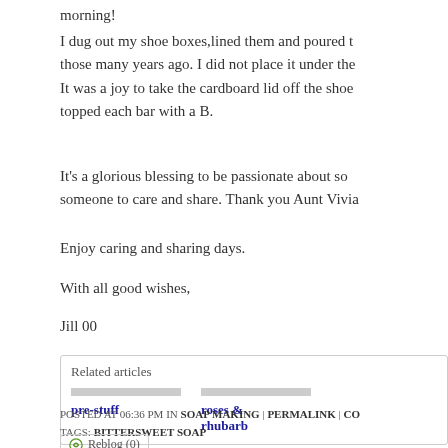morning!
I dug out my shoe boxes,lined them and poured t... those many years ago. I did not place it under the... It was a joy to take the cardboard lid off the shoe ... topped each bar with a B.
It's a glorious blessing to be passionate about so... someone to care and share. Thank you Aunt Vivia...
Enjoy caring and sharing days.
With all good wishes,
Jill 00
Related articles
pre-stuff
roses & rhubarb
POSTED AT 06:36 PM IN SOAP MAKING | PERMALINK | CO... TAGS: BITTERSWEET SOAP
Reblog (0)